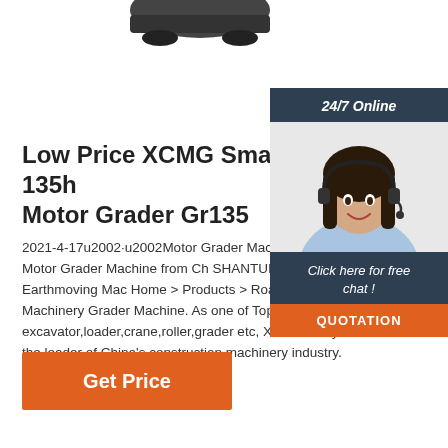[Figure (photo): Partial view of a motor grader machine (top portion, cropped) against white background]
[Figure (photo): 24/7 Online chat widget with a smiling woman wearing a headset, dark navy background header saying '24/7 Online', 'Click here for free chat!' text, and orange QUOTATION button]
Low Price XCMG Small 135h Motor Grader Gr135
2021-4-17u2002·u2002Motor Grader Machine Buy good price Motor Grader Machine from Ch SHANTUI Bulldozer. XCMG Earthmoving Mac Home > Products > Road Building Machinery Grader Machine. As one of Top 5 World Manu excavator,loader,crane,roller,grader etc, XCMo always been the leader of China's construction machinery industry.
Get Price